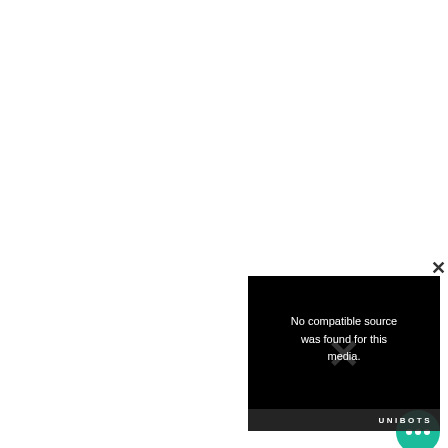[Figure (screenshot): A video player widget with black background showing 'No compatible source was found for this media.' error message with a semi-transparent X watermark and UNIBOTS branding bar. A close button (×) appears in the top-right corner of the widget. Below the widget is a round green chat bubble icon with three dots.]